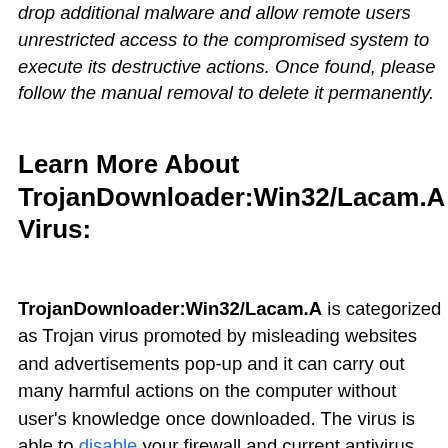drop additional malware and allow remote users unrestricted access to the compromised system to execute its destructive actions. Once found, please follow the manual removal to delete it permanently.
Learn More About TrojanDownloader:Win32/Lacam.A Virus:
TrojanDownloader:Win32/Lacam.A is categorized as Trojan virus promoted by misleading websites and advertisements pop-up and it can carry out many harmful actions on the computer without user's knowledge once downloaded. The virus is able to disable your firewall and current antivirus program, leaving your PC more vulnerable for further attacks. Besides, it has an ability to download and run other malware on the compromised computer. As a result, you will notice that some instant changes on the operation.